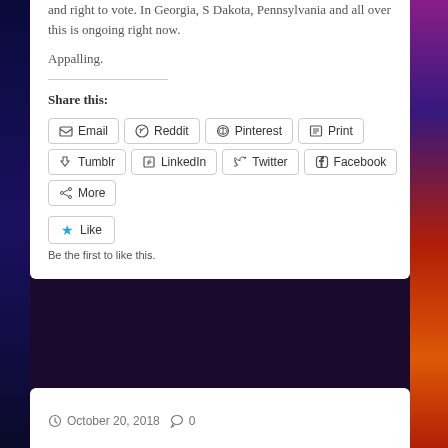and right to vote. In Georgia, S Dakota, Pennsylvania and all over this is ongoing right now.
Appalling.
Share this:
Email Reddit Pinterest Print Tumblr LinkedIn Twitter Facebook More Like
Be the first to like this.
October 20, 2018  0